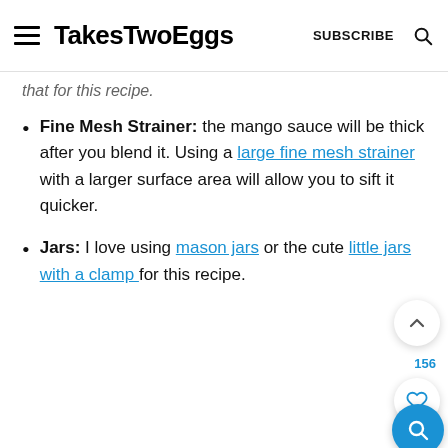TakesTwoEggs  SUBSCRIBE
that for this recipe.
Fine Mesh Strainer: the mango sauce will be thick after you blend it. Using a large fine mesh strainer with a larger surface area will allow you to sift it quicker.
Jars: I love using mason jars or the cute little jars with a clamp for this recipe.